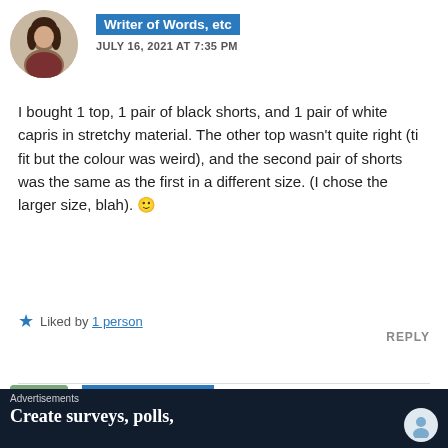[Figure (photo): Circular avatar photo of a woman with dark hair]
Writer of Words, etc
JULY 16, 2021 AT 7:35 PM
I bought 1 top, 1 pair of black shorts, and 1 pair of white capris in stretchy material. The other top wasn't quite right (ti fit but the colour was weird), and the second pair of shorts was the same as the first in a different size. (I chose the larger size, blah). 🙂
★ Liked by 1 person
REPLY
[Figure (photo): Partial avatar image of a person with greenery/plant]
InsideMySlingBag
Advertisements
Create surveys, polls,